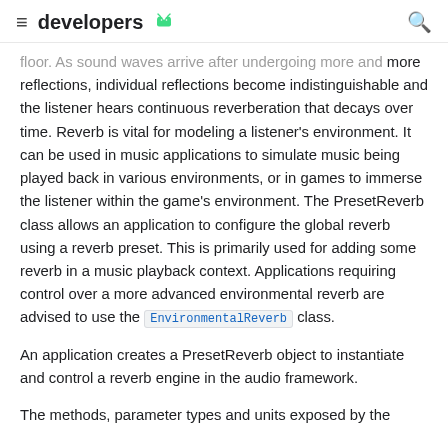≡ developers [android logo] 🔍
floor. As sound waves arrive after undergoing more and more reflections, individual reflections become indistinguishable and the listener hears continuous reverberation that decays over time. Reverb is vital for modeling a listener's environment. It can be used in music applications to simulate music being played back in various environments, or in games to immerse the listener within the game's environment. The PresetReverb class allows an application to configure the global reverb using a reverb preset. This is primarily used for adding some reverb in a music playback context. Applications requiring control over a more advanced environmental reverb are advised to use the EnvironmentalReverb class.
An application creates a PresetReverb object to instantiate and control a reverb engine in the audio framework.
The methods, parameter types and units exposed by the